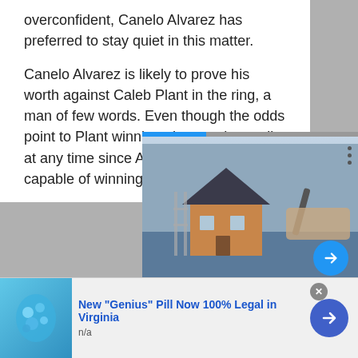overconfident, Canelo Alvarez has preferred to stay quiet in this matter.
Canelo Alvarez is likely to prove his worth against Caleb Plant in the ring, a man of few words. Even though the odds point to Plant winning, the match can tilt at any time since Alvarez is just as capable of winning.
[Figure (photo): Article image showing a miniature house model on a desk with a person writing in the background. Bottom caption reads 'How to Start YourOwn']
[Figure (photo): Advertisement thumbnail showing blue/teal pills or spherical objects held by a gloved hand]